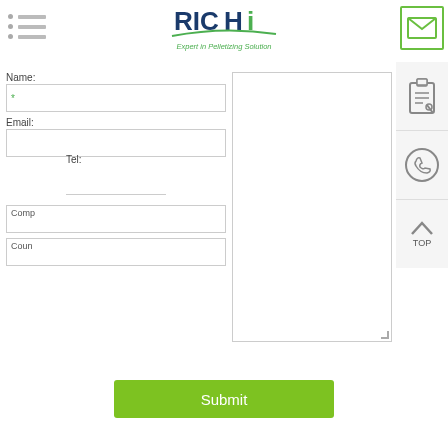[Figure (logo): RICHI logo with tagline 'Expert in Pelletizing Solution']
Name:
Email:
Tel:
Comp
Coun
Submit